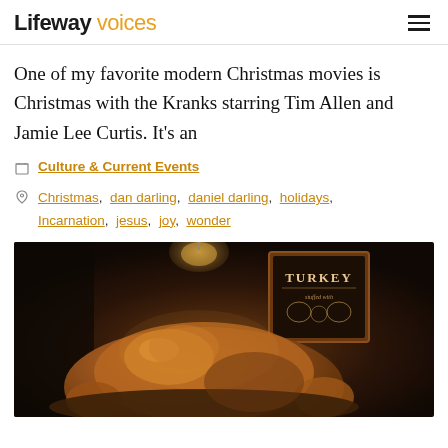Lifeway voices
One of my favorite modern Christmas movies is Christmas with the Kranks starring Tim Allen and Jamie Lee Curtis. It's an
Culture & Current Events
Christmas, dan darling, daniel darling, holidays, Incarnation, jesus, joy, wonder
[Figure (photo): A roasted turkey on a serving platter in a dark, warmly lit setting, with a chalkboard sign in the background reading 'TURKEY stuffed with...' in decorative lettering]